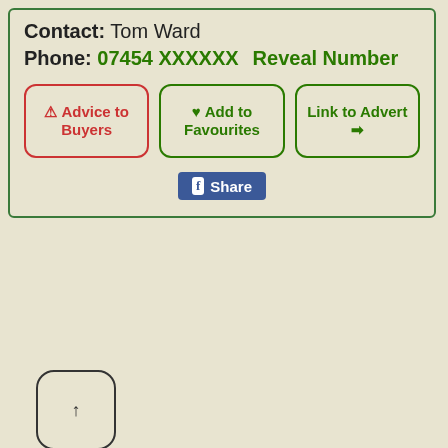Contact: Tom Ward
Phone: 07454 XXXXXX   Reveal Number
⚠ Advice to Buyers
♥ Add to Favourites
Link to Advert ➡
[Figure (screenshot): Facebook Share button]
[Figure (other): Scroll/navigate up button with arrow]